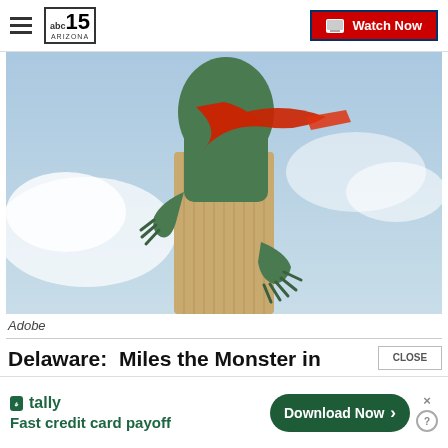abc15 ARIZONA — Watch Now
[Figure (photo): Green monster statue (Miles the Monster) hugging a cylindrical column, with a red cloth/bandana tied around its upper body, against a partly cloudy sky background.]
Adobe
Delaware:  Miles the Monster in Dover
CLOSE
[Figure (infographic): Tally advertisement banner: 'tally — Fast credit card payoff' with a green 'Download Now' button and close/info icons.]